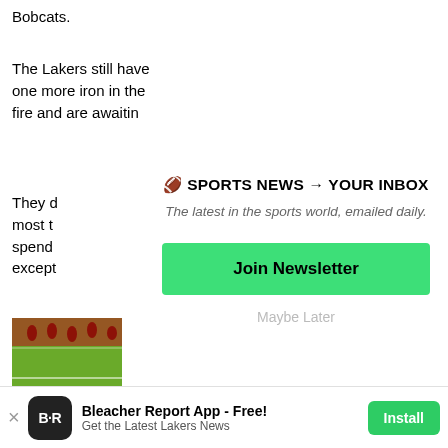Bobcats.
The Lakers still have one more iron in the fire and are awaitin
They d most t spend excep
[Figure (photo): Football field/game photo showing players on a green grass field, partial view clipped at left]
🏈 SPORTS NEWS → YOUR INBOX
The latest in the sports world, emailed daily.
Join Newsletter
Maybe Later
Bleacher Report App - Free! Get the Latest Lakers News  Install